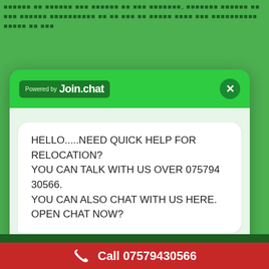[Figure (screenshot): A web chat widget popup from join.chat service. Header is bright green with 'Powered by join.chat' logo on dark green background and a close (X) button. The chat body shows a white speech bubble with text: 'HELLO.....NEED QUICK HELP FOR RELOCATION? YOU CAN TALK WITH US OVER 075794 30566. YOU CAN ALSO CHAT WITH US HERE. OPEN CHAT NOW?' Below is a green 'Live chat' button with a WhatsApp-style chat icon. Background is light green. At bottom a dark red/red bar shows 'Call 07579430566' with a phone icon.]
HELLO.....NEED QUICK HELP FOR RELOCATION? YOU CAN TALK WITH US OVER 075794 30566. YOU CAN ALSO CHAT WITH US HERE. OPEN CHAT NOW?
Call 07579430566